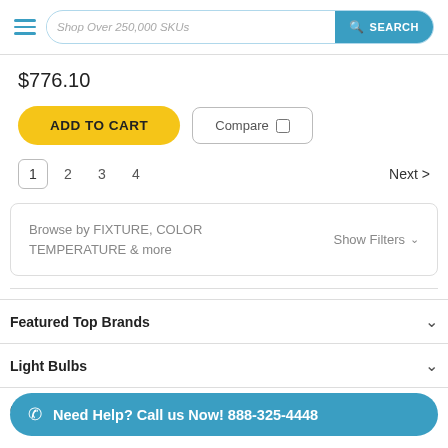Shop Over 250,000 SKUs   SEARCH
$776.10
ADD TO CART   Compare
1  2  3  4  Next >
Browse by FIXTURE, COLOR TEMPERATURE & more   Show Filters
Featured Top Brands
Light Bulbs
Com...
Need Help? Call us Now! 888-325-4448